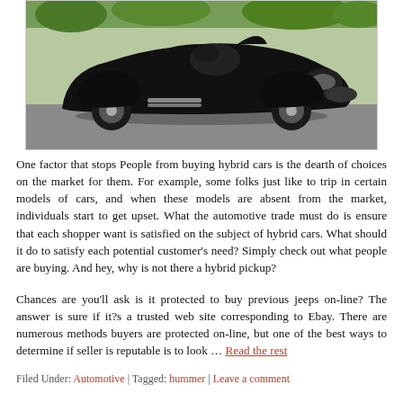[Figure (photo): A classic black Jaguar D-Type racing car photographed outdoors on a driveway, with green foliage in the background. The car has a low aerodynamic body, exposed wheels, and a distinctive fin behind the driver's seat.]
One factor that stops People from buying hybrid cars is the dearth of choices on the market for them. For example, some folks just like to trip in certain models of cars, and when these models are absent from the market, individuals start to get upset. What the automotive trade must do is ensure that each shopper want is satisfied on the subject of hybrid cars. What should it do to satisfy each potential customer's need? Simply check out what people are buying. And hey, why is not there a hybrid pickup?
Chances are you'll ask is it protected to buy previous jeeps on-line? The answer is sure if it?s a trusted web site corresponding to Ebay. There are numerous methods buyers are protected on-line, but one of the best ways to determine if seller is reputable is to look … Read the rest
Filed Under: Automotive | Tagged: hummer | Leave a comment